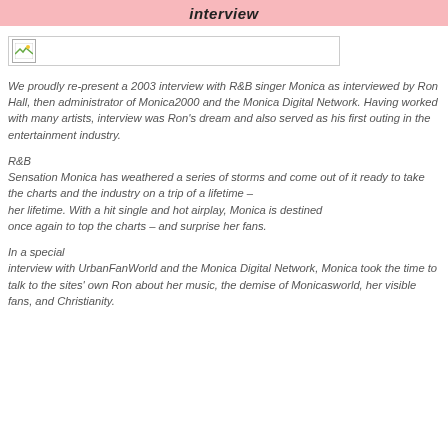interview
[Figure (photo): Broken/placeholder image icon with gray border bar]
We proudly re-present a 2003 interview with R&B singer Monica as interviewed by Ron Hall, then administrator of Monica2000 and the Monica Digital Network. Having worked with many artists, interview was Ron's dream and also served as his first outing in the entertainment industry.
R&B
Sensation Monica has weathered a series of storms and come out of it ready to take the charts and the industry on a trip of a lifetime – her lifetime. With a hit single and hot airplay, Monica is destined once again to top the charts – and surprise her fans.
In a special
interview with UrbanFanWorld and the Monica Digital Network, Monica took the time to talk to the sites' own Ron about her music, the demise of Monicasworld, her visible fans, and Christianity.